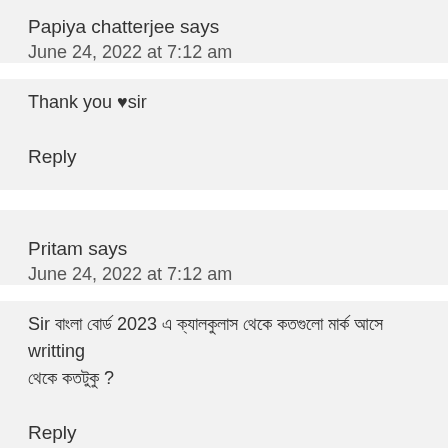Papiya chatterjee says
June 24, 2022 at 7:12 am
Thank you ♥sir
Reply
Pritam says
June 24, 2022 at 7:12 am
Sir বাংলা বোর্ড 2023 এ ক্যালকুলাস থেকে কতগুলো মার্ক আসে writting থেকে কতটুকু ?
Reply